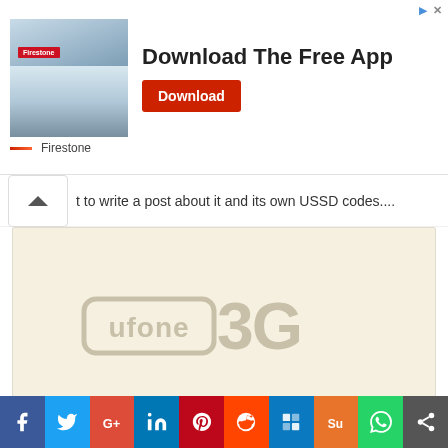[Figure (infographic): Advertisement banner for Firestone app download. Shows a Firestone store building photo on the left, bold text 'Download The Free App' in the center, and a red 'Download' button. Firestone brand name with red dash logo at the bottom left.]
t to write a post about it and its own USSD codes....
[Figure (logo): Ufone 3G logo on a light beige/cream background. Shows 'ufone' text in a rounded rectangle outline followed by '3G' in large stylized text. The logo appears watermarked/faded.]
Ufone Call Packages 2017 – Hourly, Daily, Weekly & Monthly
[Figure (infographic): Social sharing toolbar with icons for Facebook, Twitter, Google+, LinkedIn, Pinterest, Reddit, Delicious, StumbleUpon, WhatsApp, and Share.]